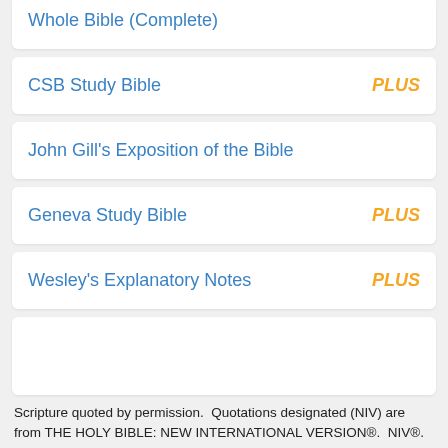Whole Bible (Complete)
CSB Study Bible — PLUS
John Gill's Exposition of the Bible
Geneva Study Bible — PLUS
Wesley's Explanatory Notes — PLUS
Scripture quoted by permission.  Quotations designated (NIV) are from THE HOLY BIBLE: NEW INTERNATIONAL VERSION®.  NIV®.  Copyright © 1973, 1978, 1984, 2011 by Biblica.  All rights reserved worldwide.